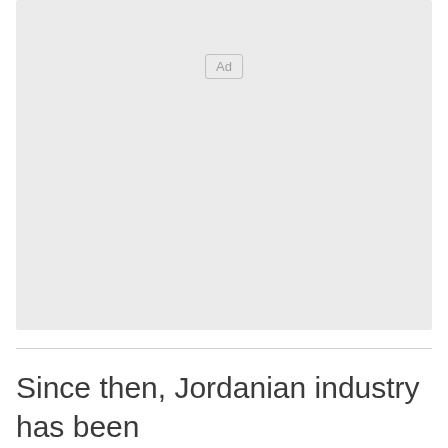[Figure (other): Advertisement placeholder box with 'Ad' label centered near top]
Since then, Jordanian industry has been